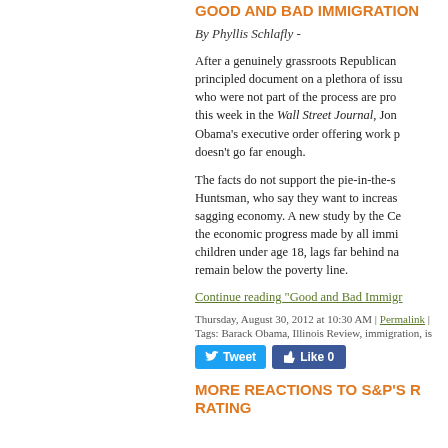GOOD AND BAD IMMIGRATION
By Phyllis Schlafly -
After a genuinely grassroots Republican principled document on a plethora of issues who were not part of the process are pro this week in the Wall Street Journal, Jon Obama's executive order offering work p doesn't go far enough.
The facts do not support the pie-in-the-s Huntsman, who say they want to increas sagging economy. A new study by the Ce the economic progress made by all immi children under age 18, lags far behind na remain below the poverty line.
Continue reading "Good and Bad Immigr
Thursday, August 30, 2012 at 10:30 AM | Permalink | Tags: Barack Obama, Illinois Review, immigration, is
MORE REACTIONS TO S&P'S RATING